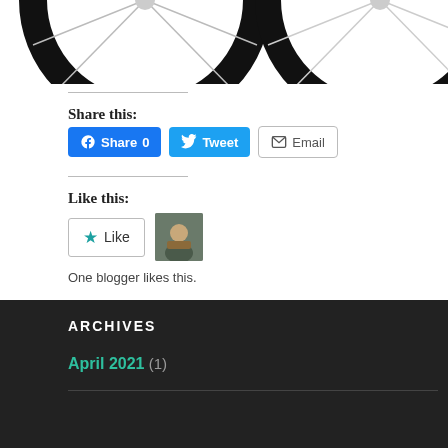[Figure (photo): Partial view of a bicycle showing two wheels with spokes against a white background]
Share this:
[Figure (infographic): Social share buttons: Facebook Share 0, Twitter Tweet, Email]
Like this:
[Figure (infographic): Like button widget with star icon and blogger avatar thumbnail]
One blogger likes this.
ARCHIVES
April 2021 (1)